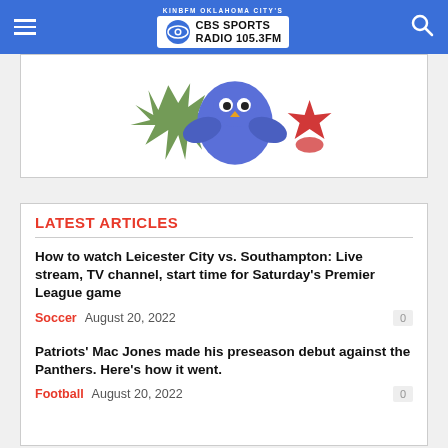KINBFM OKLAHOMA CITY'S CBS SPORTS RADIO 105.3FM
[Figure (illustration): Partial cartoon illustration showing colorful characters on white background]
LATEST ARTICLES
How to watch Leicester City vs. Southampton: Live stream, TV channel, start time for Saturday's Premier League game
Soccer   August 20, 2022   0
Patriots' Mac Jones made his preseason debut against the Panthers. Here's how it went.
Football   August 20, 2022   0